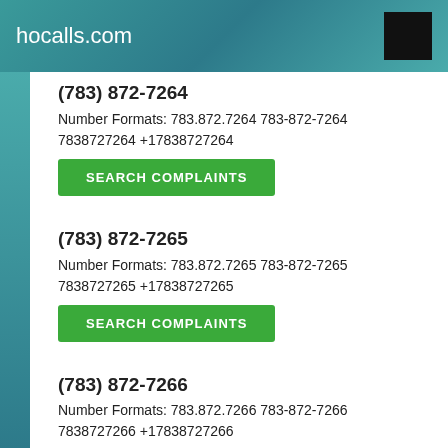hocalls.com
(783) 872-7264
Number Formats: 783.872.7264 783-872-7264 7838727264 +17838727264
SEARCH COMPLAINTS
(783) 872-7265
Number Formats: 783.872.7265 783-872-7265 7838727265 +17838727265
SEARCH COMPLAINTS
(783) 872-7266
Number Formats: 783.872.7266 783-872-7266 7838727266 +17838727266
SEARCH COMPLAINTS